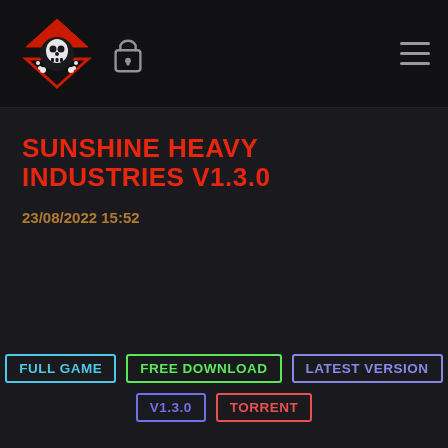Sunshine Heavy Industries V1.3.0 — site header with logo, lock icon, hamburger menu
SUNSHINE HEAVY INDUSTRIES V1.3.0
23/08/2022 15:52
FULL GAME | FREE DOWNLOAD | LATEST VERSION | V1.3.0 | TORRENT